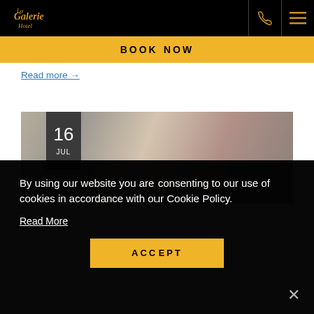[Figure (logo): La Galerie Hotel logo in gold italic script on black background]
BOOK NOW
Read more →
[Figure (photo): Blurred photo of what appears to be food or hotel items, with date badge showing 16 JUL]
By using our website you are consenting to our use of cookies in accordance with our Cookie Policy.
Read More
ACCEPT